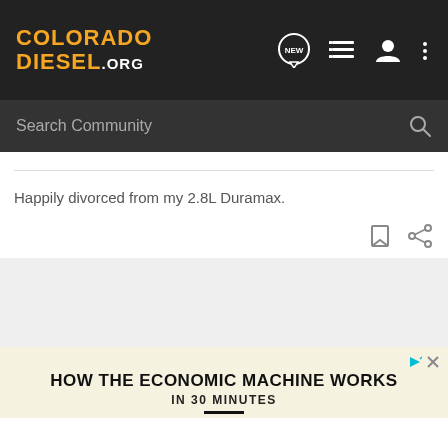COLORADO DIESEL.ORG
Search Community
Happily divorced from my 2.8L Duramax.
[Figure (screenshot): Advertisement screenshot showing 'HOW THE ECONOMIC MACHINE WORKS IN 30 MINUTES']